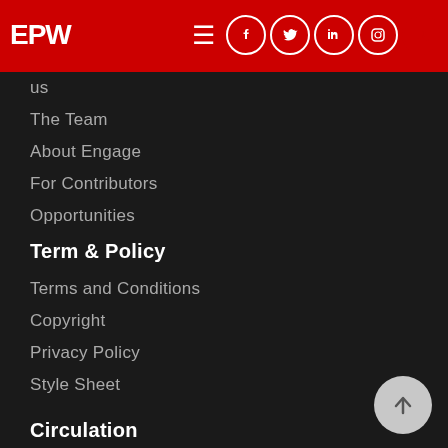EPW | navigation menu with social icons
us
The Team
About Engage
For Contributors
Opportunities
Term & Policy
Terms and Conditions
Copyright
Privacy Policy
Style Sheet
Circulation
Refund and Cancellation
User Registration